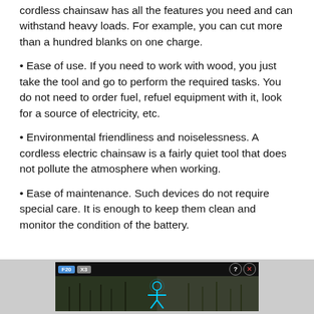cordless chainsaw has all the features you need and can withstand heavy loads. For example, you can cut more than a hundred blanks on one charge.
• Ease of use. If you need to work with wood, you just take the tool and go to perform the required tasks. You do not need to order fuel, refuel equipment with it, look for a source of electricity, etc.
• Environmental friendliness and noiselessness. A cordless electric chainsaw is a fairly quiet tool that does not pollute the atmosphere when working.
• Ease of maintenance. Such devices do not require special care. It is enough to keep them clean and monitor the condition of the battery.
[Figure (screenshot): Advertisement banner showing 'Hold and Move' app/game with a dark background, outdoor winter scene with trees, and a blue glowing figure icon. Top bar has navigation tabs and close/help buttons.]